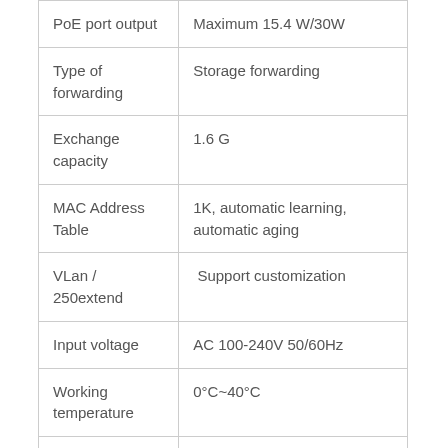| Feature | Value |
| --- | --- |
| PoE port output | Maximum 15.4 W/30W |
| Type of forwarding | Storage forwarding |
| Exchange capacity | 1.6 G |
| MAC Address Table | 1K, automatic learning, automatic aging |
| VLan / 250extend |  Support customization |
| Input voltage | AC 100-240V 50/60Hz |
| Working temperature | 0°C~40°C |
| Storage | -40°C~70°C |